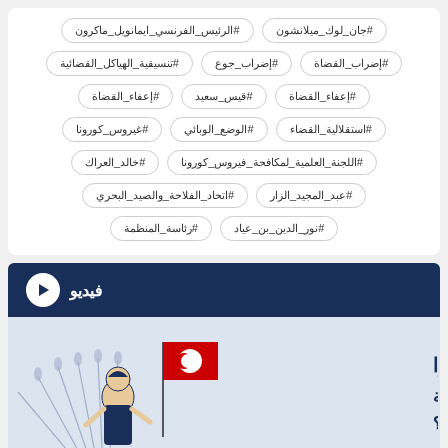#جان_لوك_ميلانشون
#الرئيس_الفرنسي_ايمانويل_ماكرون
#إضراب_القضاة
#إضراب_جوع
#تنسيقية_الهياكل_القضائية
#إعفاء_القضاة
#قيس_سعيد
#إعفاء_القضاة
#استقلالية_القضاء
#الوضع_الوبائي
#غيروس_كورونا
#اللجنة_العلمية_لمكافحة_فيروس_كورونا
#خالد_العراك
#عبد_المجيد_الزار
#اتحاد_الفلاحة_والصيد_البحري
#نور_الدين_بن_عياد
#رئاسة_المنظمة
فيديو
[Figure (illustration): Illustration of a woman with Tunisian flag and wheat stalks, with Arabic text overlay reading partial text about monetary policy]